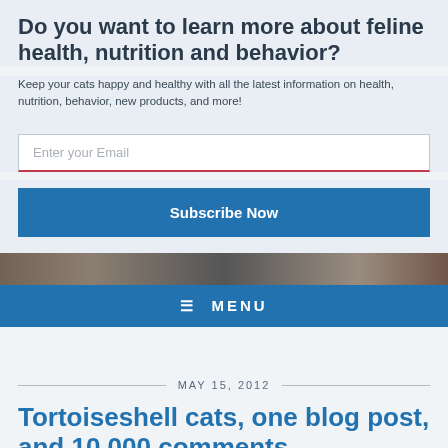Do you want to learn more about feline health, nutrition and behavior?
Keep your cats happy and healthy with all the latest information on health, nutrition, behavior, new products, and more!
Enter your Email
Subscribe Now
[Figure (screenshot): Horizontal image strip showing partial cat/blog imagery]
≡ MENU
MAY 15, 2012
Tortoiseshell cats, one blog post, and 10,000 comments